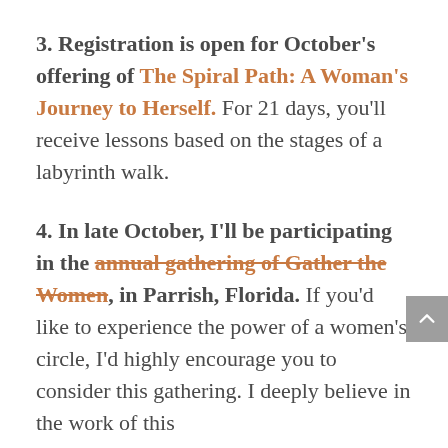3. Registration is open for October's offering of The Spiral Path: A Woman's Journey to Herself. For 21 days, you'll receive lessons based on the stages of a labyrinth walk.
4. In late October, I'll be participating in the annual gathering of Gather the Women, in Parrish, Florida. If you'd like to experience the power of a women's circle, I'd highly encourage you to consider this gathering. I deeply believe in the work of this